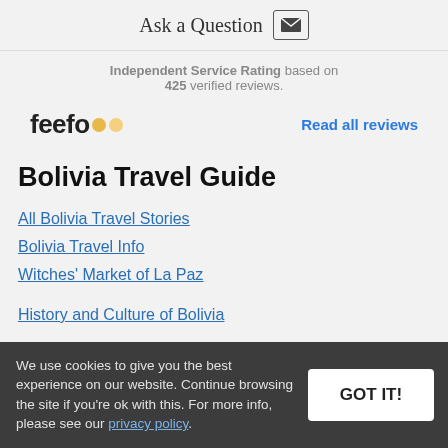Ask a Question
Independent Service Rating based on 425 verified reviews.
[Figure (logo): Feefo logo with two yellow/gold circles]
Read all reviews
Bolivia Travel Guide
All Bolivia Travel Stories
Bolivia Travel Info
Witches' Market of La Paz
History and Culture of Bolivia
We use cookies to give you the best experience on our website. Continue browsing the site if you're ok with this. For more info, please see our privacy policy.